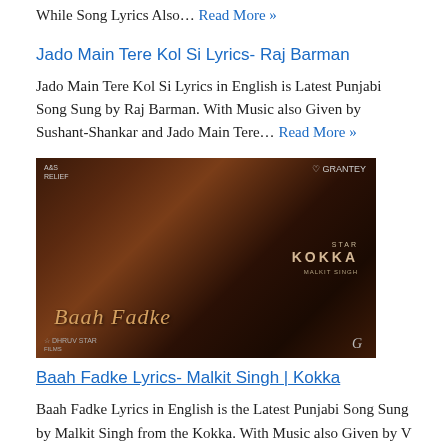While Song Lyrics Also… Read More »
Jado Main Tere Kol Si Lyrics- Raj Barman
Jado Main Tere Kol Si Lyrics in English is Latest Punjabi Song Sung by Raj Barman. With Music also Given by Sushant-Shankar and Jado Main Tere… Read More »
[Figure (photo): Promotional image for Baah Fadke song from movie Kokka. Shows a couple close together with golden sparkle background. Text 'Baah Fadke' in italic gold script at bottom left, 'KOKKA' label at right.]
Baah Fadke Lyrics- Malkit Singh | Kokka
Baah Fadke Lyrics in English is the Latest Punjabi Song Sung by Malkit Singh from the Kokka. With Music also Given by V Rakx…